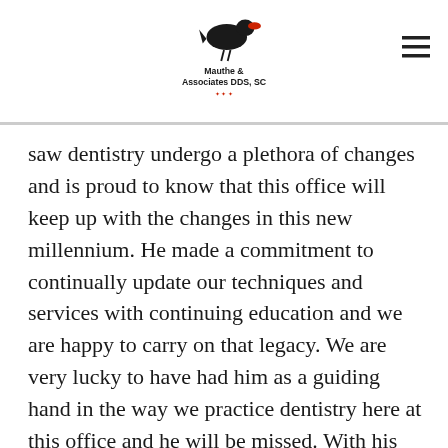Mauthe & Associates DDS, SC
saw dentistry undergo a plethora of changes and is proud to know that this office will keep up with the changes in this new millennium. He made a commitment to continually update our techniques and services with continuing education and we are happy to carry on that legacy. We are very lucky to have had him as a guiding hand in the way we practice dentistry here at this office and he will be missed. With his newly found extra time, he will be able to spend it with his wife, kids, and grandkids.